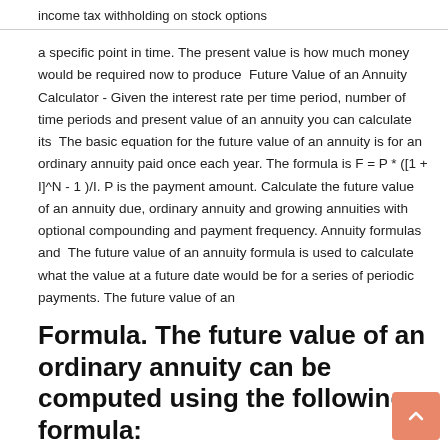income tax withholding on stock options
a specific point in time. The present value is how much money would be required now to produce  Future Value of an Annuity Calculator - Given the interest rate per time period, number of time periods and present value of an annuity you can calculate its  The basic equation for the future value of an annuity is for an ordinary annuity paid once each year. The formula is F = P * ([1 + I]^N - 1 )/I. P is the payment amount. Calculate the future value of an annuity due, ordinary annuity and growing annuities with optional compounding and payment frequency. Annuity formulas and  The future value of an annuity formula is used to calculate what the value at a future date would be for a series of periodic payments. The future value of an
Formula. The future value of an ordinary annuity can be computed using the following formula: